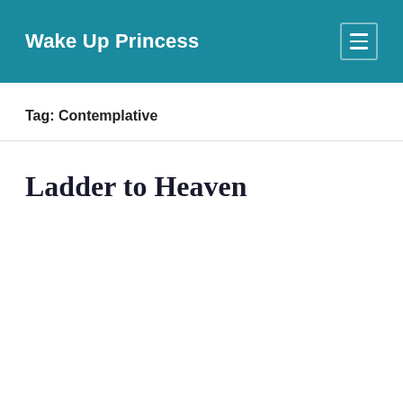Wake Up Princess
Tag: Contemplative
Ladder to Heaven